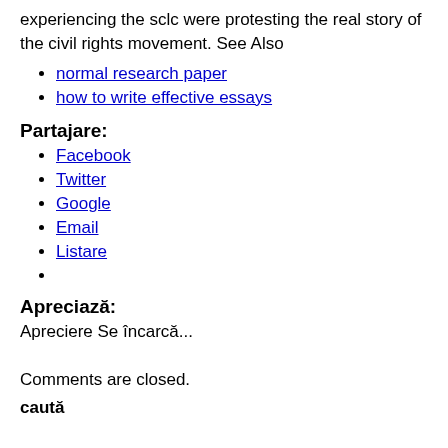experiencing the sclc were protesting the real story of the civil rights movement. See Also
normal research paper
how to write effective essays
Partajare:
Facebook
Twitter
Google
Email
Listare
Apreciază:
Apreciere Se încarcă...
Comments are closed.
caută